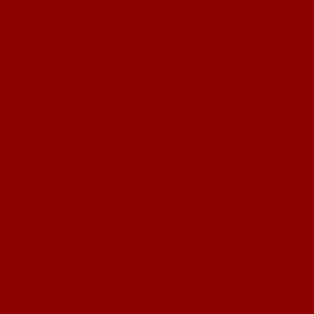ear Wireless Bluetooth Headset with Built in Mic
BLU Tank II T193 Unlocked GSM Dual-SIM Cell Phone w/ Camera and 1900 mAh Big Battery – Unlocked Cell Phones – Retail Packaging – Black